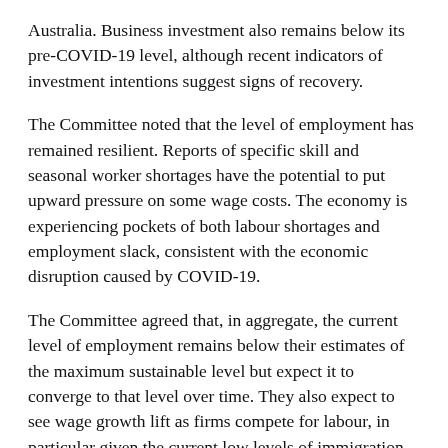Australia. Business investment also remains below its pre-COVID-19 level, although recent indicators of investment intentions suggest signs of recovery.
The Committee noted that the level of employment has remained resilient. Reports of specific skill and seasonal worker shortages have the potential to put upward pressure on some wage costs. The economy is experiencing pockets of both labour shortages and employment slack, consistent with the economic disruption caused by COVID-19.
The Committee agreed that, in aggregate, the current level of employment remains below their estimates of the maximum sustainable level but expect it to converge to that level over time. They also expect to see wage growth lift as firms compete for labour, in particular given the current low levels of immigration.
The Committee noted that underlying CPI inflation currently remains slightly below their target midpoint of 2 percent per annum. A range of domestic and international factors are expected to lift headline inflation above 2 percent for a period. Members noted these factors